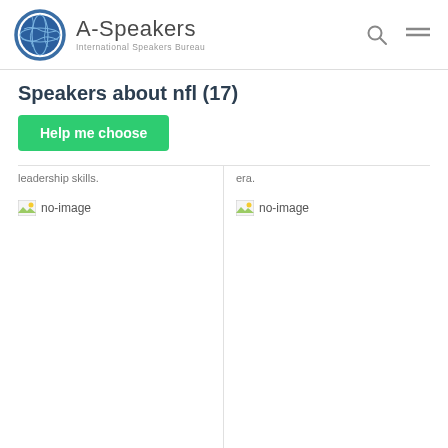A-Speakers International Speakers Bureau
Speakers about nfl (17)
Help me choose
leadership skills.
era.
[Figure (photo): No-image placeholder for speaker 1 (Mike McCarthy)]
[Figure (photo): No-image placeholder for speaker 2 (Nick Foles)]
Mike McCarthy
Nick Foles